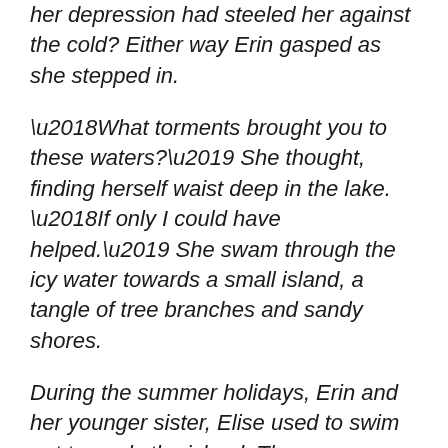her depression had steeled her against the cold? Either way Erin gasped as she stepped in.
‘What torments brought you to these waters?’ She thought, finding herself waist deep in the lake. ‘If only I could have helped.’ She swam through the icy water towards a small island, a tangle of tree branches and sandy shores.
During the summer holidays, Erin and her younger sister, Elise used to swim out towards the island. The warm waters suspended their sun kissed limbs as they splashed headlong towards an adventure of exploring over rock and under root.
Erin, felt her teeth chatter as she breaststroked through the choppy waters. Erin didn’t mind, she was a strong